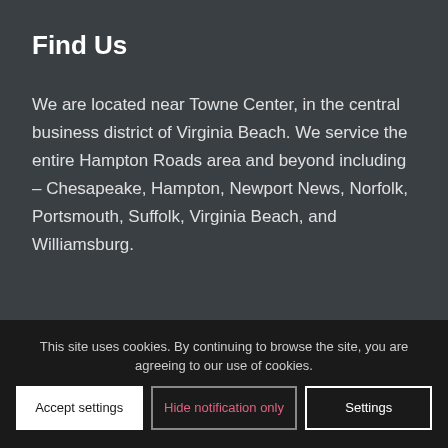Find Us
We are located near Towne Center, in the central business district of Virginia Beach. We service the entire Hampton Roads area and beyond including – Chesapeake, Hampton, Newport News, Norfolk, Portsmouth, Suffolk, Virginia Beach, and Williamsburg.
This site uses cookies. By continuing to browse the site, you are agreeing to our use of cookies.
Accept settings | Hide notification only | Settings